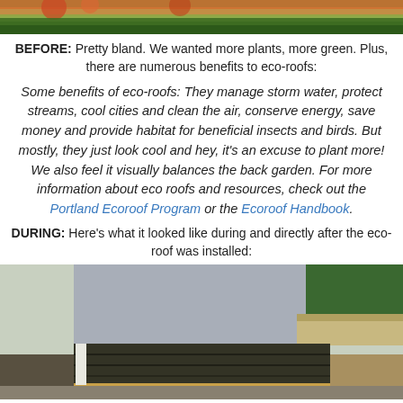[Figure (photo): Top portion of a photo showing garden/flowers before eco-roof installation]
BEFORE: Pretty bland. We wanted more plants, more green. Plus, there are numerous benefits to eco-roofs:
Some benefits of eco-roofs: They manage storm water, protect streams, cool cities and clean the air, conserve energy, save money and provide habitat for beneficial insects and birds. But mostly, they just look cool and hey, it's an excuse to plant more! We also feel it visually balances the back garden. For more information about eco roofs and resources, check out the Portland Ecoroof Program or the Ecoroof Handbook.
DURING: Here's what it looked like during and directly after the eco-roof was installed:
[Figure (photo): Photo showing eco-roof installation in progress and directly after installation, with dark membrane roofing material visible]